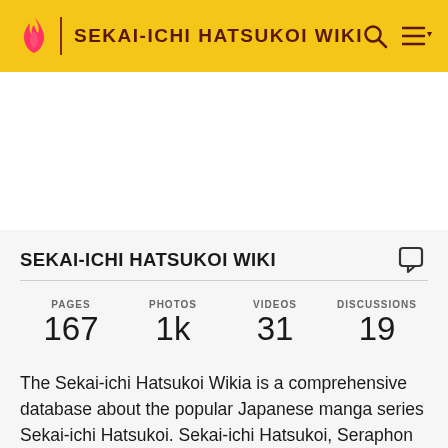SEKAI-ICHI HATSUKOI WIKI
SEKAI-ICHI HATSUKOI WIKI
| PAGES | PHOTOS | VIDEOS | DISCUSSIONS |
| --- | --- | --- | --- |
| 167 | 1k | 31 | 19 |
The Sekai-ichi Hatsukoi Wikia is a comprehensive database about the popular Japanese manga series Sekai-ichi Hatsukoi. Sekai-ichi Hatsukoi, Seraphon Eli...